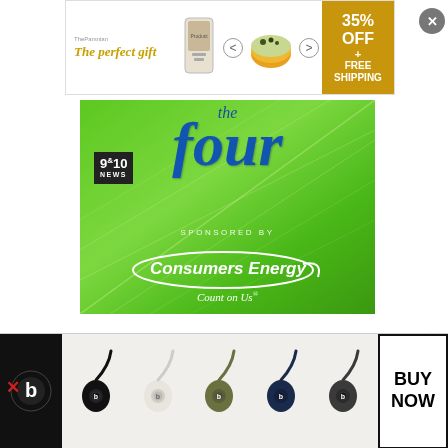[Figure (advertisement): Top banner ad: 'The perfect gift' with food product image, navigation arrows, bowl of food, and '35% OFF + FREE SHIPPING' offer in gold box]
[Figure (advertisement): Main green advertisement for '9&10 NEWS the four' sponsored by Consumers Energy 'Count on Us®' – green leaf background with blue/white text]
[Figure (advertisement): Bottom banner ad for Beats earbuds in multiple colors (white, tan, green, navy, black) with 'BUY NOW' button]